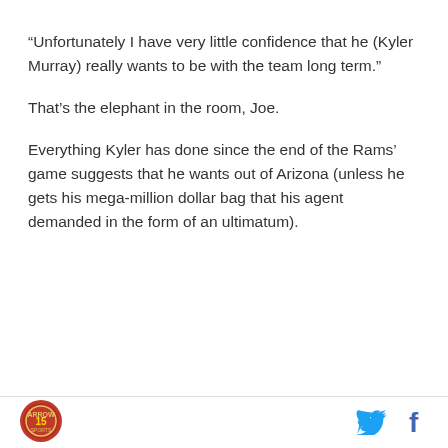“Unfortunately I have very little confidence that he (Kyler Murray) really wants to be with the team long term.”
That’s the elephant in the room, Joe.
Everything Kyler has done since the end of the Rams’ game suggests that he wants out of Arizona (unless he gets his mega-million dollar bag that his agent demanded in the form of an ultimatum).
[Figure (logo): Circular red logo with sports team emblem]
[Figure (logo): Twitter bird icon in blue]
[Figure (logo): Facebook f icon in blue]